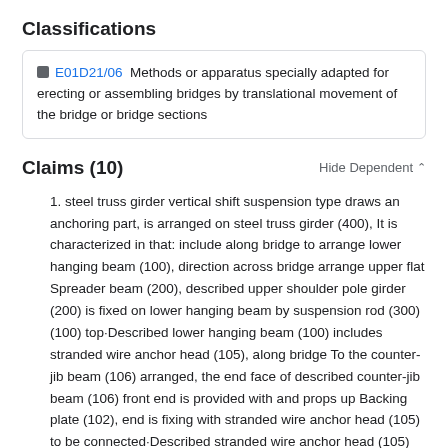Classifications
E01D21/06  Methods or apparatus specially adapted for erecting or assembling bridges by translational movement of the bridge or bridge sections
Claims (10)
Hide Dependent ^
1. steel truss girder vertical shift suspension type draws an anchoring part, is arranged on steel truss girder (400), It is characterized in that: include along bridge to arrange lower hanging beam (100), direction across bridge arrange upper flat Spreader beam (200), described upper shoulder pole girder (200) is fixed on lower hanging beam by suspension rod (300) (100) top·Described lower hanging beam (100) includes stranded wire anchor head (105), along bridge To the counter-jib beam (106) arranged, the end face of described counter-jib beam (106) front end is provided with and props up Backing plate (102), end is fixing with stranded wire anchor head (105) to be connected·Described stranded wire anchor head (105) top is provided with reaction beam (101), and described reaction beam (101) is